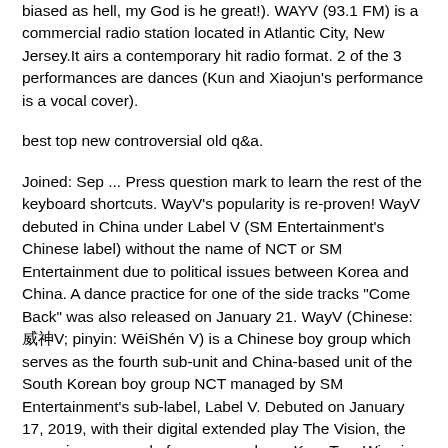biased as hell, my God is he great!). WAYV (93.1 FM) is a commercial radio station located in Atlantic City, New Jersey.It airs a contemporary hit radio format. 2 of the 3 performances are dances (Kun and Xiaojun's performance is a vocal cover).
best top new controversial old q&a.
Joined: Sep ... Press question mark to learn the rest of the keyboard shortcuts. WayV's popularity is re-proven! WayV debuted in China under Label V (SM Entertainment's Chinese label) without the name of NCT or SM Entertainment due to political issues between Korea and China. A dance practice for one of the side tracks "Come Back" was also released on January 21. WayV (Chinese: 威神V; pinyin: WēiShén V) is a Chinese boy group which serves as the fourth sub-unit and China-based unit of the South Korean boy group NCT managed by SM Entertainment's sub-label, Label V. Debuted on January 17, 2019, with their digital extended play The Vision, the group is composed of seven members: Kun, Ten, Winwin, Lucas, Xiaojun, Hendery, Yangyang. The classic K-pop fan in me appreciates this approach very much, even if I've heard more exciting chorus melodies before. 115. Associations This